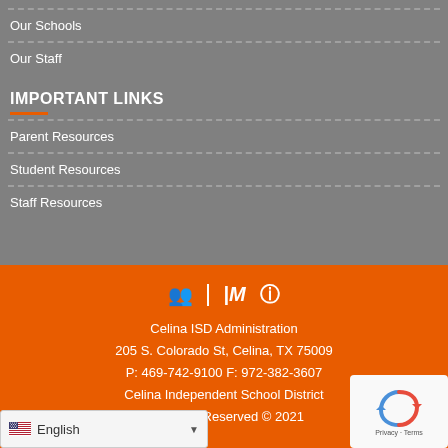Our Schools
Our Staff
IMPORTANT LINKS
Parent Resources
Student Resources
Staff Resources
Celina ISD Administration
205 S. Colorado St, Celina, TX 75009
P: 469-742-9100 F: 972-382-3607
Celina Independent School District
All Rights Reserved © 2021
English | All Rights Reserved © 2021